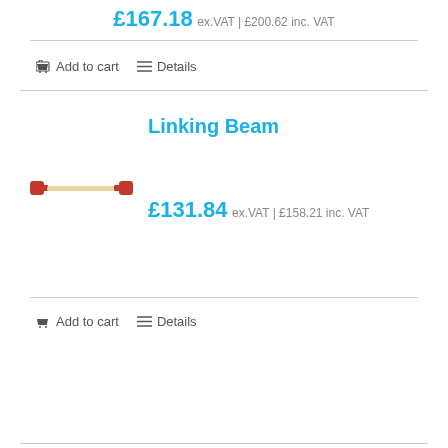£167.18 ex.VAT | £200.62 inc. VAT
Add to cart   Details
Linking Beam
[Figure (photo): A linking beam product image showing a metal rod/bar with red end connectors on a white background]
£131.84 ex.VAT | £158.21 inc. VAT
Add to cart   Details